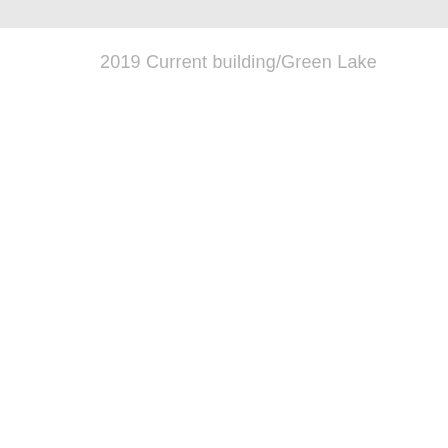2019 Current building/Green Lake